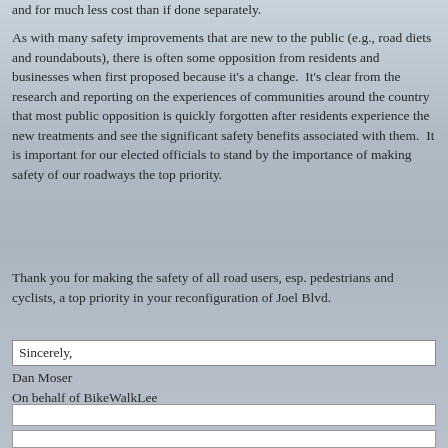and for much less cost than if done separately.
As with many safety improvements that are new to the public (e.g., road diets and roundabouts), there is often some opposition from residents and businesses when first proposed because it’s a change.  It’s clear from the research and reporting on the experiences of communities around the country that most public opposition is quickly forgotten after residents experience the new treatments and see the significant safety benefits associated with them.  It is important for our elected officials to stand by the importance of making safety of our roadways the top priority.
Thank you for making the safety of all road users, esp. pedestrians and cyclists, a top priority in your reconfiguration of Joel Blvd.
Sincerely,
Dan Moser
On behalf of BikeWalkLee